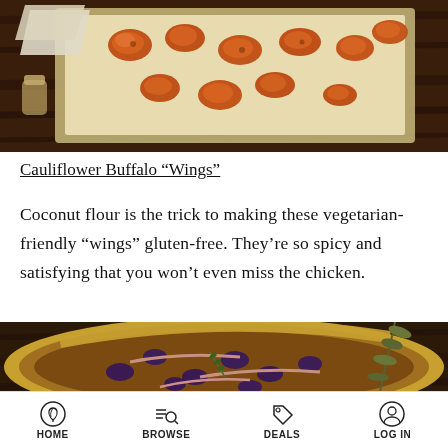[Figure (photo): Overhead shot of buffalo cauliflower wings on a baking tray lined with parchment paper, on a dark wooden surface, with a small glass jar nearby]
Cauliflower Buffalo “Wings”
Coconut flour is the trick to making these vegetarian-friendly “wings” gluten-free. They’re so spicy and satisfying that you won’t even miss the chicken.
[Figure (photo): Overhead shot of a savory tart/quiche with olives, anchovies, caramelized onions, and herbs on a dark wooden surface with olive branches]
HOME  BROWSE  DEALS  LOG IN